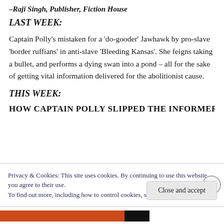–Raji Singh, Publisher, Fiction House
LAST WEEK:
Captain Polly's mistaken for a 'do-gooder' Jawhawk by pro-slave 'border ruffians' in anti-slave 'Bleeding Kansas'. She feigns taking a bullet, and performs a dying swan into a pond – all for the sake of getting vital information delivered for the abolitionist cause.
THIS WEEK:
HOW CAPTAIN POLLY SLIPPED THE INFORMER'S
Privacy & Cookies: This site uses cookies. By continuing to use this website, you agree to their use.
To find out more, including how to control cookies, see here: Cookie Policy
Close and accept